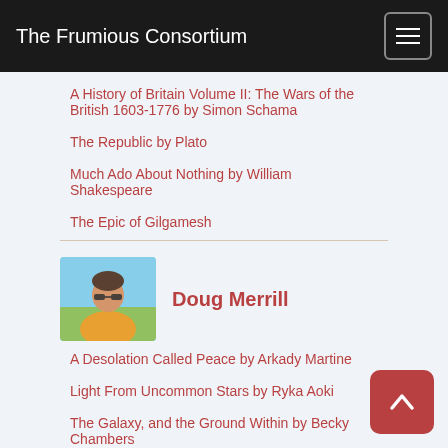The Frumious Consortium
A History of Britain Volume II: The Wars of the British 1603-1776 by Simon Schama
The Republic by Plato
Much Ado About Nothing by William Shakespeare
The Epic of Gilgamesh
Doug Merrill
A Desolation Called Peace by Arkady Martine
Light From Uncommon Stars by Ryka Aoki
The Galaxy, and the Ground Within by Becky Chambers
Project Hail Mary by Andy Weir
On the Field of Glory by Henryk Sienkiewicz